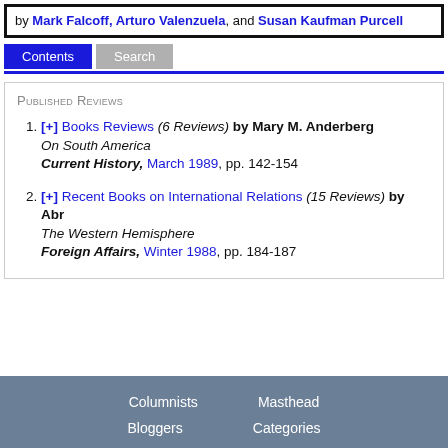by Mark Falcoff, Arturo Valenzuela, and Susan Kaufman Purcell
Contents  Search
Published Reviews
[+] Books Reviews (6 Reviews) by Mary M. Anderberg
On South America
Current History, March 1989, pp. 142-154
[+] Recent Books on International Relations (15 Reviews) by Ab...
The Western Hemisphere
Foreign Affairs, Winter 1988, pp. 184-187
Columnists  Masthead  Bloggers  Categories